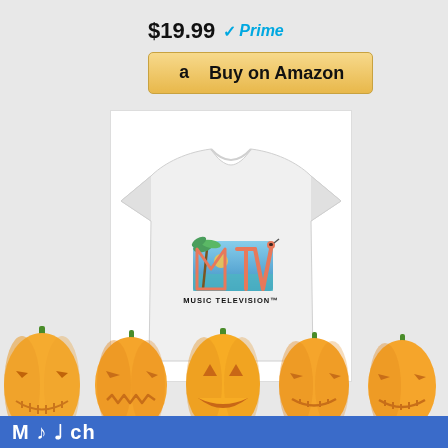$19.99 ✓Prime
Buy on Amazon
[Figure (photo): White t-shirt with MTV Music Television beach/flamingo logo graphic on front]
[Figure (illustration): Row of five Halloween jack-o-lantern pumpkins with carved faces across the bottom of the page, partially overlapping a blue banner with text]